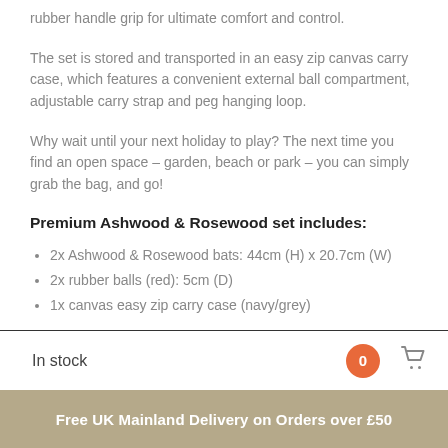rubber handle grip for ultimate comfort and control.
The set is stored and transported in an easy zip canvas carry case, which features a convenient external ball compartment, adjustable carry strap and peg hanging loop.
Why wait until your next holiday to play? The next time you find an open space – garden, beach or park – you can simply grab the bag, and go!
Premium Ashwood & Rosewood set includes:
2x Ashwood & Rosewood bats: 44cm (H) x 20.7cm (W)
2x rubber balls (red): 5cm (D)
1x canvas easy zip carry case (navy/grey)
In stock
Free UK Mainland Delivery on Orders over £50